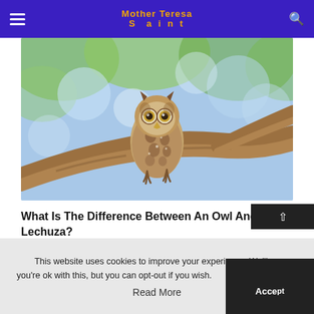Mother Teresa Saint
[Figure (photo): A small spotted owl perched on a tree branch, with a blurred green and blue bokeh background. The owl faces forward with large yellow eyes.]
What Is The Difference Between An Owl And A Lechuza?
This website uses cookies to improve your experience. We'll as you're ok with this, but you can opt-out if you wish.
Read More